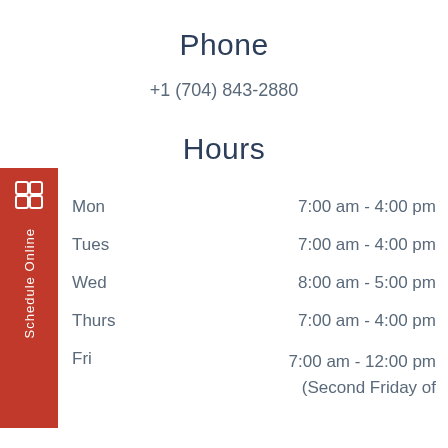Phone
+1 (704) 843-2880
Hours
| Day | Hours |
| --- | --- |
| Mon | 7:00 am - 4:00 pm |
| Tues | 7:00 am - 4:00 pm |
| Wed | 8:00 am - 5:00 pm |
| Thurs | 7:00 am - 4:00 pm |
| Fri | 7:00 am - 12:00 pm
(Second Friday of |